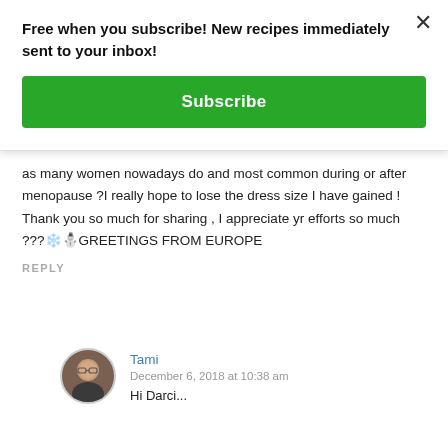Free when you subscribe! New recipes immediately sent to your inbox!
Subscribe
as many women nowadays do and most common during or after menopause ?I really hope to lose the dress size I have gained ! Thank you so much for sharing , I appreciate yr efforts so much ???❄️⛄GREETINGS FROM EUROPE
REPLY
Tami
December 6, 2018 at 10:38 am
Hi Darci...